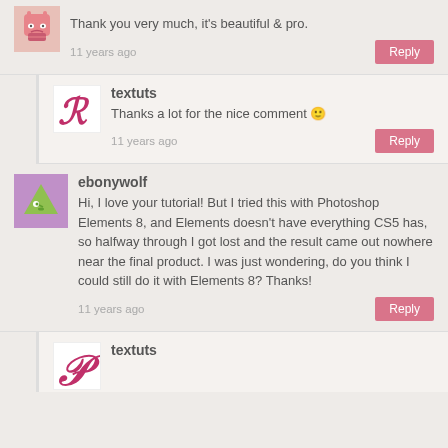Thank you very much, it's beautiful & pro.
11 years ago
Reply
textuts
Thanks a lot for the nice comment 🙂
11 years ago
Reply
ebonywolf
Hi, I love your tutorial! But I tried this with Photoshop Elements 8, and Elements doesn't have everything CS5 has, so halfway through I got lost and the result came out nowhere near the final product. I was just wondering, do you think I could still do it with Elements 8? Thanks!
11 years ago
Reply
textuts